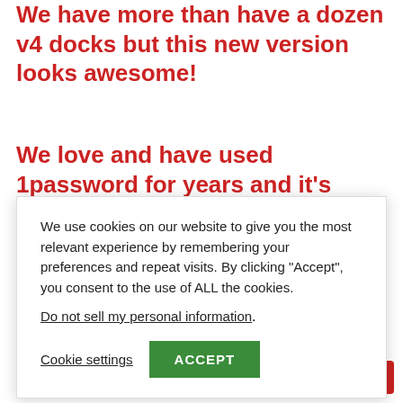We have more than have a dozen v4 docks but this new version looks awesome!
We love and have used 1password for years and it's fantastic!security
We use cookies on our website to give you the most relevant experience by remembering your preferences and repeat visits. By clicking “Accept”, you consent to the use of ALL the cookies.
Do not sell my personal information.
Cookie settings
ACCEPT
whistle
Why?
windows
YouTube
Chat